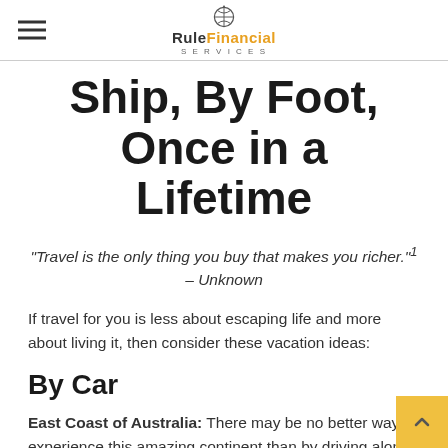Rule Financial Services
Ship, By Foot, Once in a Lifetime
"Travel is the only thing you buy that makes you richer."¹ – Unknown
If travel for you is less about escaping life and more about living it, then consider these vacation ideas:
By Car
East Coast of Australia: There may be no better way to experience this amazing continent than by driving along its east coast, stretching from Melbourne in the south to Cairns to the north. This 2,500-mile drive carries you through rainforests, cities, mountains, and the outback, with the blue waters of the Pacific as a constant